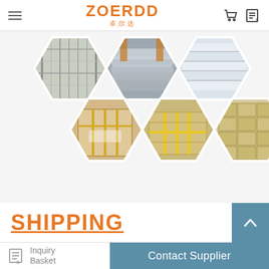ZOERDD 卓尔达
[Figure (photo): Six hexagonal photos showing warehouse and shipping: metal shelving/products, stacked roofing tiles, white packages on shelves, cardboard-wrapped pallet, stacked cardboard boxes with strapping, warehouse with stacked boxes]
SHIPPING
Inquiry Basket | Contact Supplier